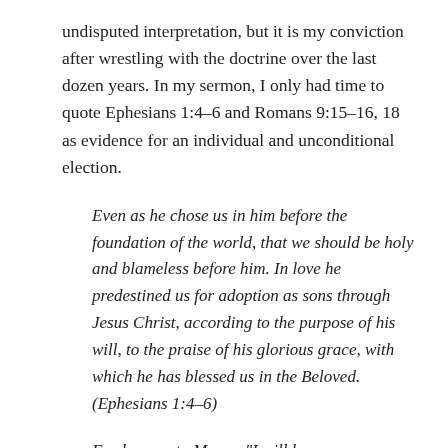undisputed interpretation, but it is my conviction after wrestling with the doctrine over the last dozen years. In my sermon, I only had time to quote Ephesians 1:4–6 and Romans 9:15–16, 18 as evidence for an individual and unconditional election.
Even as he chose us in him before the foundation of the world, that we should be holy and blameless before him. In love he predestined us for adoption as sons through Jesus Christ, according to the purpose of his will, to the praise of his glorious grace, with which he has blessed us in the Beloved. (Ephesians 1:4–6)
For he says to Moses, "I will have mercy on whom I have mercy, and I will have compassion on whom I have compassion." So then it depends not on human will or